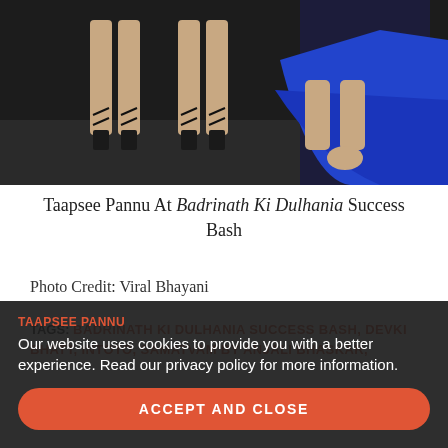[Figure (photo): Photo of women's legs in strappy heels on a dark floor, one wearing a royal blue ruffled dress/skirt]
Taapsee Pannu At Badrinath Ki Dulhania Success Bash
Photo Credit: Viral Bhayani
TAGS: BADRINATH KI DULHANIA SUCCESS BASH, DEVKI BHATT, INTOTO, SAMATVAM BY ANJALI BHASKAR, TAAPSEE PANNU
Our website uses cookies to provide you with a better experience. Read our privacy policy for more information.
ACCEPT AND CLOSE